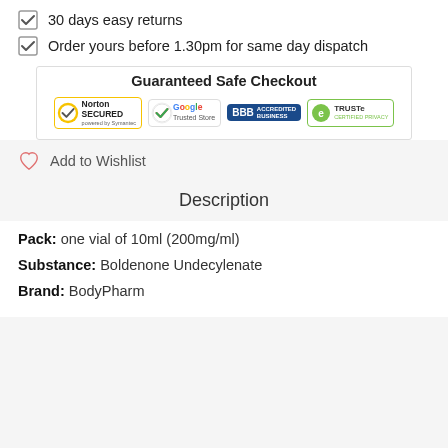30 days easy returns
Order yours before 1.30pm for same day dispatch
Guaranteed Safe Checkout
[Figure (logo): Trust badges: Norton Secured, Google Trusted Store, BBB Accredited Business, TRUSTe Certified Privacy]
Add to Wishlist
Description
Pack: one vial of 10ml (200mg/ml)
Substance: Boldenone Undecylenate
Brand: BodyPharm